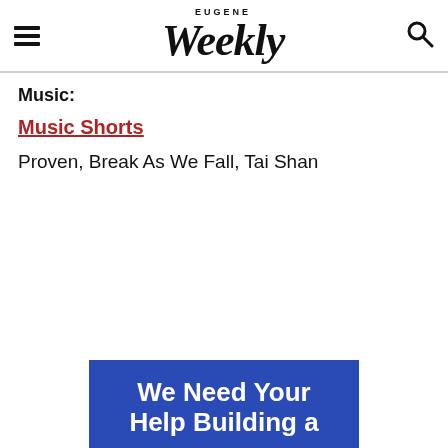EUGENE Weekly
Music:
Music Shorts
Proven, Break As We Fall, Tai Shan
[Figure (infographic): Blue banner with white bold text reading 'We Need Your Help Building a']